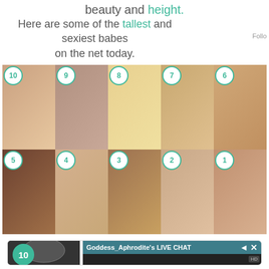beauty and height.
Here are some of the tallest and sexiest babes on the net today.
[Figure (photo): Grid of 10 numbered portrait photos of women, arranged in two rows of 5, numbered 10 down to 1 with teal circle badges]
[Figure (screenshot): Bottom section showing a live chat interface: number 10 badge, thumbnail of zebra art, and 'Goddess_Aphrodite's LIVE CHAT' header with HD video area]